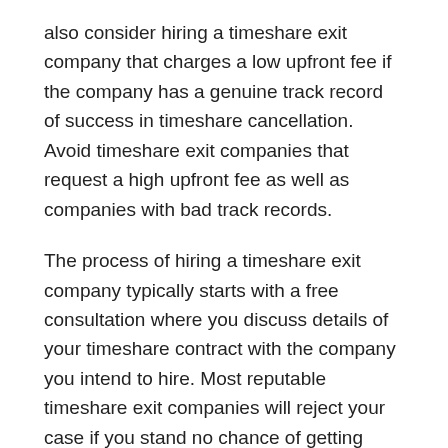also consider hiring a timeshare exit company that charges a low upfront fee if the company has a genuine track record of success in timeshare cancellation. Avoid timeshare exit companies that request a high upfront fee as well as companies with bad track records.
The process of hiring a timeshare exit company typically starts with a free consultation where you discuss details of your timeshare contract with the company you intend to hire. Most reputable timeshare exit companies will reject your case if you stand no chance of getting your timeshare cancelled. So, you can rest assured that a reputable timeshare exit company will get rid of your timeshare if it accepts your case.